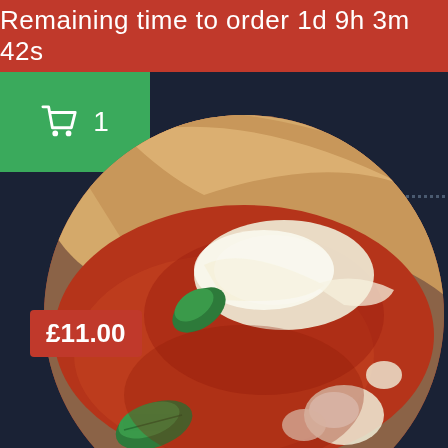Remaining time to order 1d 9h 3m 42s
1
[Figure (photo): Close-up circular photo of a pizza with tomato sauce, melted mozzarella, and basil leaves, viewed from above at an angle showing the crust]
£11.00